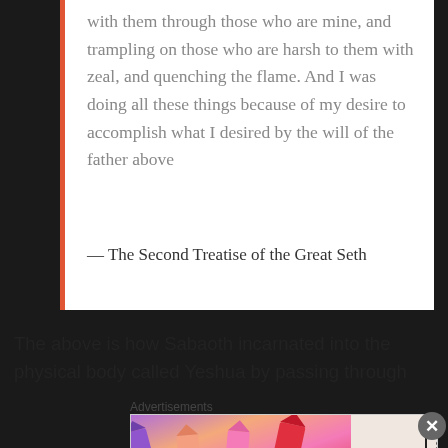with them through those who are mine, and trampling on those who are harsh to them with zeal, and quenching the flame. And I was doing all these things because of my desire to accomplish what I desired by the will of the father above
— The Second Treatise of the Great Seth
The above is how Sabaoth incarnated into the physical body called Yeshua by passing through
Advertisements
[Figure (illustration): MAC Cosmetics advertisement showing colorful lipsticks, MAC logo, and SHOP NOW button]